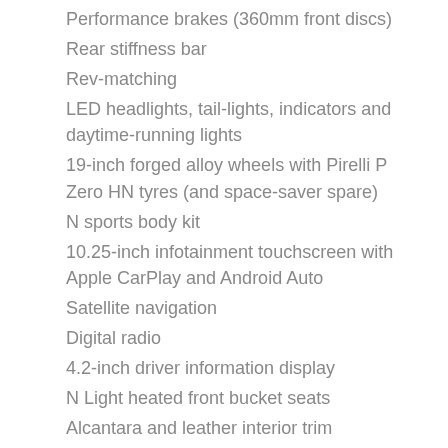Performance brakes (360mm front discs)
Rear stiffness bar
Rev-matching
LED headlights, tail-lights, indicators and daytime-running lights
19-inch forged alloy wheels with Pirelli P Zero HN tyres (and space-saver spare)
N sports body kit
10.25-inch infotainment touchscreen with Apple CarPlay and Android Auto
Satellite navigation
Digital radio
4.2-inch driver information display
N Light heated front bucket seats
Alcantara and leather interior trim
Alloy sports pedals
Dual-zone climate control
Heated steering wheel
Wireless smartphone charging